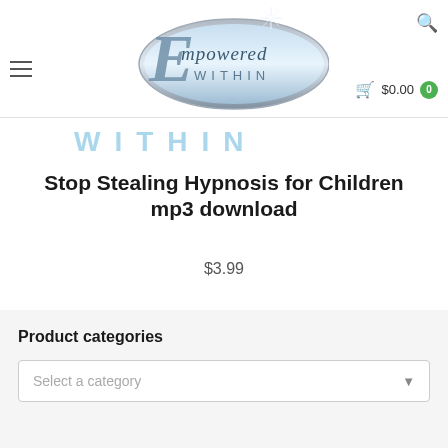[Figure (logo): Empowered Within logo with silver oval, decorative E and cursive text, star burst graphic, 'WITHIN' text below]
Stop Stealing Hypnosis for Children mp3 download
$3.99
Product categories
Select a category